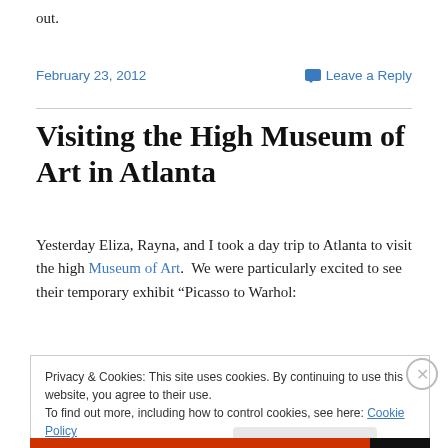out.
February 23, 2012
Leave a Reply
Visiting the High Museum of Art in Atlanta
Yesterday Eliza, Rayna, and I took a day trip to Atlanta to visit the high Museum of Art.  We were particularly excited to see their temporary exhibit “Picasso to Warhol:
Privacy & Cookies: This site uses cookies. By continuing to use this website, you agree to their use.
To find out more, including how to control cookies, see here: Cookie Policy
Close and accept